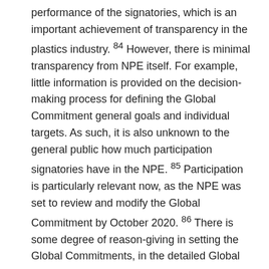performance of the signatories, which is an important achievement of transparency in the plastics industry. 84 However, there is minimal transparency from NPE itself. For example, little information is provided on the decision-making process for defining the Global Commitment general goals and individual targets. As such, it is also unknown to the general public how much participation signatories have in the NPE. 85 Participation is particularly relevant now, as the NPE was set to review and modify the Global Commitment by October 2020. 86 There is some degree of reason-giving in setting the Global Commitments, in the detailed Global Commitment Definitions. 87 Similar publications on the decision-making process would help support the implementation of an EPR scheme. Currently, NPE does not penalize individual signatories for failing to meet targets. However, if enforcement mechanisms are adopted to support a voluntary EPR scheme, ensuring some form of it...